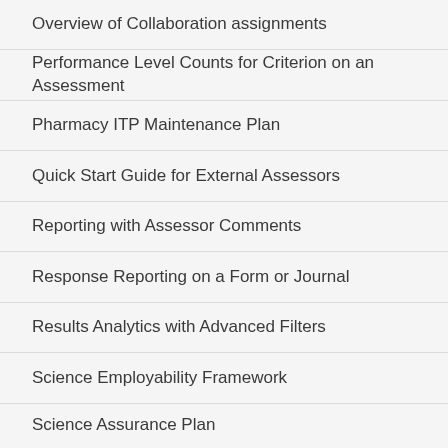Overview of Collaboration assignments
Performance Level Counts for Criterion on an Assessment
Pharmacy ITP Maintenance Plan
Quick Start Guide for External Assessors
Reporting with Assessor Comments
Response Reporting on a Form or Journal
Results Analytics with Advanced Filters
Science Employability Framework
Science Assurance Plan